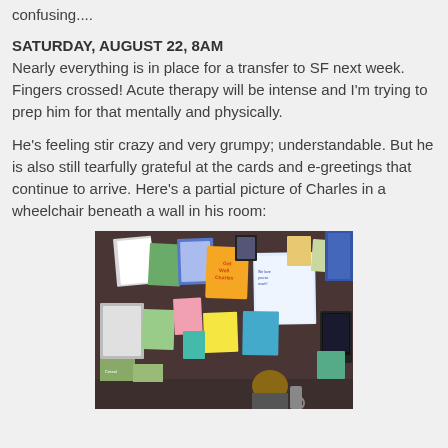confusing....
SATURDAY, AUGUST 22, 8AM
Nearly everything is in place for a transfer to SF next week.  Fingers crossed!  Acute therapy will be intense and I'm trying to prep him for that mentally and physically.
He's feeling stir crazy and very grumpy; understandable.  But he is also still tearfully grateful at the cards and e-greetings that continue to arrive.  Here's a partial picture of Charles in a wheelchair beneath a wall in his room:
[Figure (photo): Photo of Charles in a wheelchair beneath a wall covered in cards and get-well messages in his hospital room.]